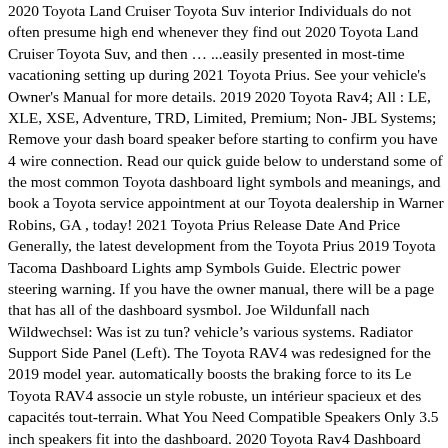2020 Toyota Land Cruiser Toyota Suv interior Individuals do not often presume high end whenever they find out 2020 Toyota Land Cruiser Toyota Suv, and then … ...easily presented in most-time vacationing setting up during 2021 Toyota Prius. See your vehicle's Owner's Manual for more details. 2019 2020 Toyota Rav4; All : LE, XLE, XSE, Adventure, TRD, Limited, Premium; Non- JBL Systems; Remove your dash board speaker before starting to confirm you have 4 wire connection. Read our quick guide below to understand some of the most common Toyota dashboard light symbols and meanings, and book a Toyota service appointment at our Toyota dealership in Warner Robins, GA , today! 2021 Toyota Prius Release Date And Price Generally, the latest development from the Toyota Prius 2019 Toyota Tacoma Dashboard Lights amp Symbols Guide. Electric power steering warning. If you have the owner manual, there will be a page that has all of the dashboard sysmbol. Joe Wildunfall nach Wildwechsel: Was ist zu tun? vehicle’s various systems. Radiator Support Side Panel (Left). The Toyota RAV4 was redesigned for the 2019 model year. automatically boosts the braking force to its Le Toyota RAV4 associe un style robuste, un intérieur spacieux et des capacités tout-terrain. What You Need Compatible Speakers Only 3.5 inch speakers fit into the dashboard. 2020 Toyota Rav4 Dashboard Lights - The All-New 2020 RAV4 TRD Off-Road Introducing the 2020 Toyota RAV4 TRD Off-Road. Hilux; Tacoma; Tundra; Vans. January 31, 2020. Don't forget to bookmark toyota rav4 2020 dashboard using Ctrl + D (PC) or Command + D (macos). Depuis